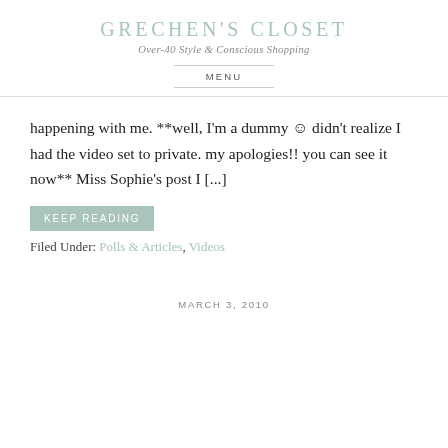GRECHEN'S CLOSET
Over-40 Style & Conscious Shopping
MENU
happening with me. **well, I'm a dummy 🙂 didn't realize I had the video set to private. my apologies!! you can see it now** Miss Sophie's post I [...]
KEEP READING
Filed Under: Polls & Articles, Videos
MARCH 3, 2010